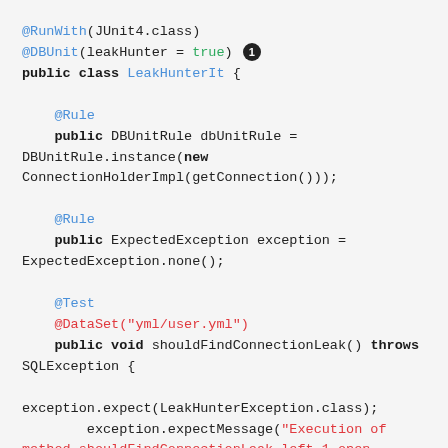[Figure (screenshot): Code snippet showing a Java test class LeakHunterIt with @RunWith, @DBUnit, @Rule, @Test, @DataSet annotations, using DBUnitRule, ExpectedException, and LeakHunterException.]